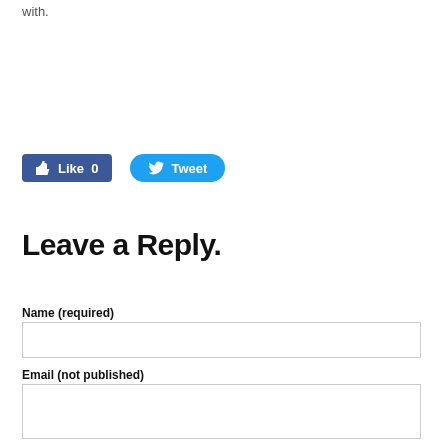with.
[Figure (other): Facebook Like button (blue rounded rectangle) showing 'Like 0' and Twitter Tweet button (blue pill-shaped) showing 'Tweet']
Leave a Reply.
Name (required)
[Figure (other): Empty text input field for Name]
Email (not published)
[Figure (other): Empty text input field for Email]